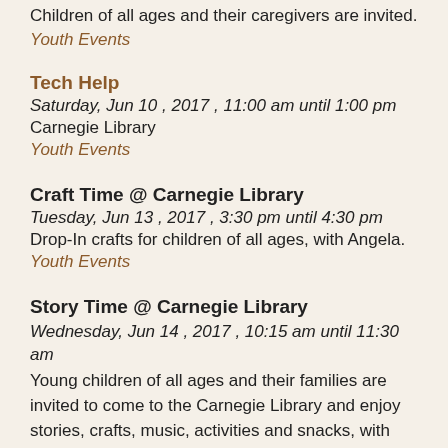Children of all ages and their caregivers are invited.
Youth Events
Tech Help
Saturday, Jun 10 , 2017 , 11:00 am until 1:00 pm
Carnegie Library
Youth Events
Craft Time @ Carnegie Library
Tuesday, Jun 13 , 2017 , 3:30 pm until 4:30 pm
Drop-In crafts for children of all ages, with Angela.
Youth Events
Story Time @ Carnegie Library
Wednesday, Jun 14 , 2017 , 10:15 am until 11:30 am
Young children of all ages and their families are invited to come to the Carnegie Library and enjoy stories, crafts, music, activities and snacks, with Karen Wartel.